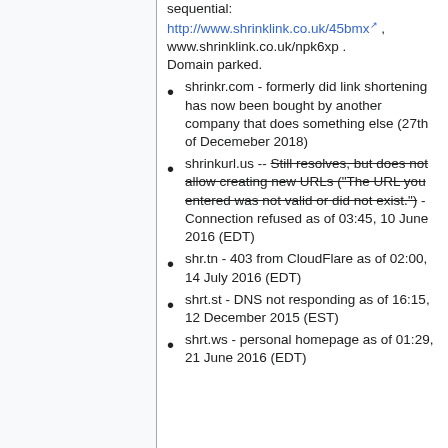sequential: http://www.shrinklink.co.uk/45bmx , www.shrinklink.co.uk/npk6xp . Domain parked.
shrinkr.com - formerly did link shortening has now been bought by another company that does something else (27th of Decemeber 2018)
shrinkurl.us -- Still resolves, but does not allow creating new URLs ("The URL you entered was not valid or did not exist.") - Connection refused as of 03:45, 10 June 2016 (EDT)
shr.tn - 403 from CloudFlare as of 02:00, 14 July 2016 (EDT)
shrt.st - DNS not responding as of 16:15, 12 December 2015 (EST)
shrt.ws - personal homepage as of 01:29, 21 June 2016 (EDT)